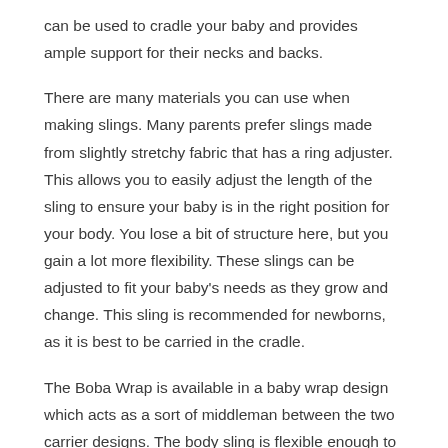can be used to cradle your baby and provides ample support for their necks and backs.
There are many materials you can use when making slings. Many parents prefer slings made from slightly stretchy fabric that has a ring adjuster. This allows you to easily adjust the length of the sling to ensure your baby is in the right position for your body. You lose a bit of structure here, but you gain a lot more flexibility. These slings can be adjusted to fit your baby's needs as they grow and change. This sling is recommended for newborns, as it is best to be carried in the cradle.
The Boba Wrap is available in a baby wrap design which acts as a sort of middleman between the two carrier designs. The body sling is flexible enough to carry babies up to 35 months with a slightly different shape not too dissimilar to the structured carrier. You'll need to learn how to handle this whole wrap as it usually comes in lengths of around 16 feet long, but with a bit of practice, you can